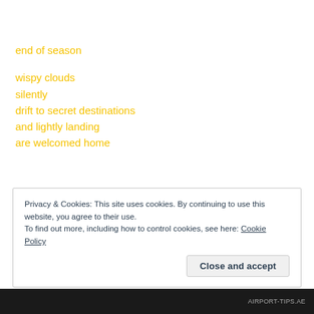end of season

wispy clouds
silently
drift to secret destinations
and lightly landing
are welcomed home
Privacy & Cookies: This site uses cookies. By continuing to use this website, you agree to their use.
To find out more, including how to control cookies, see here: Cookie Policy

Close and accept
AIRPORT-TIPS.AE